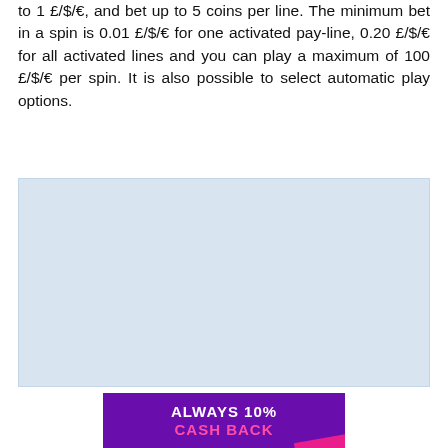to 1 £/$/€, and bet up to 5 coins per line. The minimum bet in a spin is 0.01 £/$/€ for one activated pay-line, 0.20 £/$/€ for all activated lines and you can play a maximum of 100 £/$/€ per spin. It is also possible to select automatic play options.
[Figure (other): Light blue rectangular image placeholder]
[Figure (infographic): Purple promotional banner reading 'ALWAYS 10% CASH BACK' with pink text for 'CASH BACK' and a pink diagonal stripe accent]